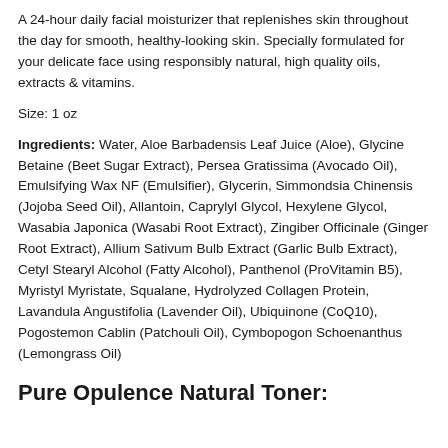A 24-hour daily facial moisturizer that replenishes skin throughout the day for smooth, healthy-looking skin. Specially formulated for your delicate face using responsibly natural, high quality oils, extracts & vitamins.
Size: 1 oz
Ingredients: Water, Aloe Barbadensis Leaf Juice (Aloe), Glycine Betaine (Beet Sugar Extract), Persea Gratissima (Avocado Oil), Emulsifying Wax NF (Emulsifier), Glycerin, Simmondsia Chinensis (Jojoba Seed Oil), Allantoin, Caprylyl Glycol, Hexylene Glycol, Wasabia Japonica (Wasabi Root Extract), Zingiber Officinale (Ginger Root Extract), Allium Sativum Bulb Extract (Garlic Bulb Extract), Cetyl Stearyl Alcohol (Fatty Alcohol), Panthenol (ProVitamin B5), Myristyl Myristate, Squalane, Hydrolyzed Collagen Protein, Lavandula Angustifolia (Lavender Oil), Ubiquinone (CoQ10), Pogostemon Cablin (Patchouli Oil), Cymbopogon Schoenanthus (Lemongrass Oil)
Pure Opulence Natural Toner: